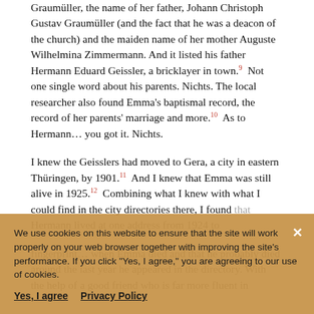Graumüller, the name of her father, Johann Christoph Gustav Graumüller (and the fact that he was a deacon of the church) and the maiden name of her mother Auguste Wilhelmina Zimmermann. And it listed his father Hermann Eduard Geissler, a bricklayer in town.⁹ Not one single word about his parents. Nichts. The local researcher also found Emma's baptismal record, the record of her parents' marriage and more.¹⁰ As to Hermann… you got it. Nichts.
I knew the Geisslers had moved to Gera, a city in eastern Thüringen, by 1901.¹¹ And I knew that Emma was still alive in 1925.¹² Combining what I knew with what I could find in the city directories there, I found that Hermann lived at one address from 1924 to [overlaid by cookie banner]